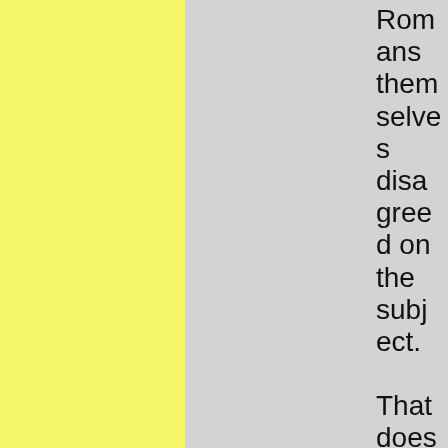Romans themselves disagreed on the subject.

That doesn't mean we can't ulti